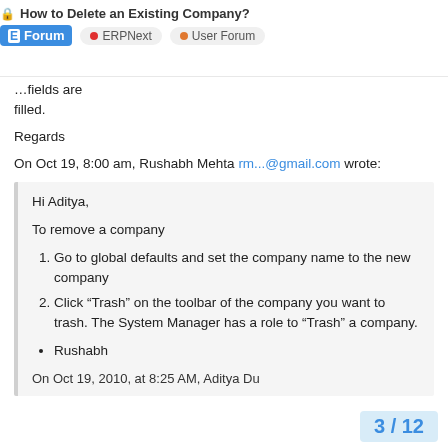How to Delete an Existing Company? | Forum | ERPNext | User Forum
fields are filled.
Regards
On Oct 19, 8:00 am, Rushabh Mehta rm...@gmail.com wrote:
Hi Aditya,

To remove a company

1. Go to global defaults and set the company name to the new company
2. Click “Trash” on the toolbar of the company you want to trash. The System Manager has a role to “Trash” a company.

• Rushabh
On Oct 19, 2010, at 8:25 AM, Aditya Du
3 / 12